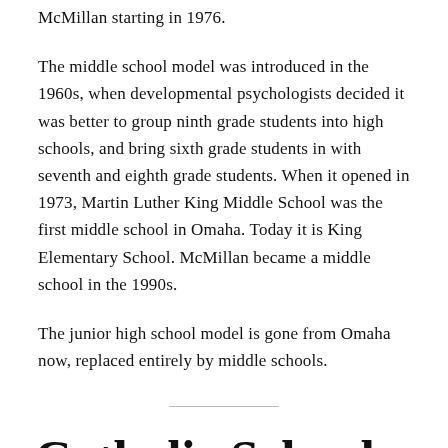McMillan starting in 1976.
The middle school model was introduced in the 1960s, when developmental psychologists decided it was better to group ninth grade students into high schools, and bring sixth grade students in with seventh and eighth grade students. When it opened in 1973, Martin Luther King Middle School was the first middle school in Omaha. Today it is King Elementary School. McMillan became a middle school in the 1990s.
The junior high school model is gone from Omaha now, replaced entirely by middle schools.
Catholic Schools in North Omaha